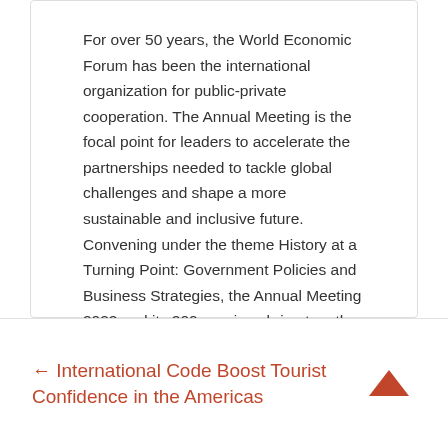For over 50 years, the World Economic Forum has been the international organization for public-private cooperation. The Annual Meeting is the focal point for leaders to accelerate the partnerships needed to tackle global challenges and shape a more sustainable and inclusive future. Convening under the theme History at a Turning Point: Government Policies and Business Strategies, the Annual Meeting 2022 and its 200 sessions bring together global leaders from business, government and civil society. Learn more about the programme and view sessions.
← International Code Boost Tourist Confidence in the Americas